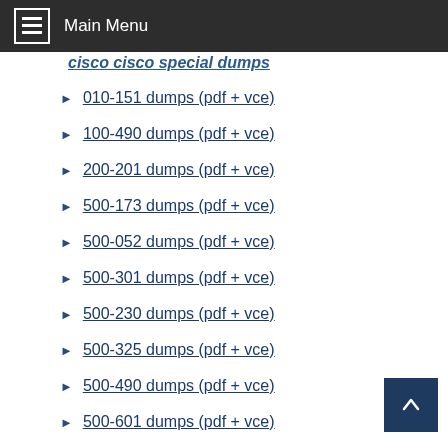Main Menu
cisco cisco special dumps
010-151 dumps (pdf + vce)
100-490 dumps (pdf + vce)
200-201 dumps (pdf + vce)
500-173 dumps (pdf + vce)
500-052 dumps (pdf + vce)
500-301 dumps (pdf + vce)
500-230 dumps (pdf + vce)
500-325 dumps (pdf + vce)
500-490 dumps (pdf + vce)
500-601 dumps (pdf + vce)